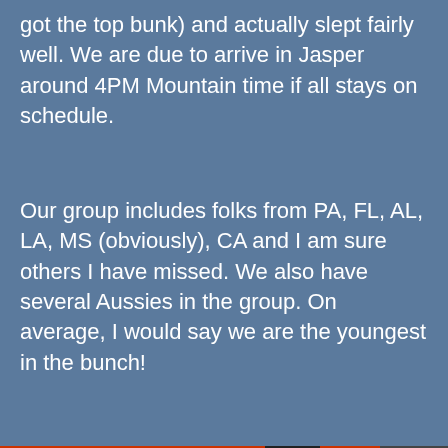got the top bunk) and actually slept fairly well. We are due to arrive in Jasper around 4PM Mountain time if all stays on schedule.
Our group includes folks from PA, FL, AL, LA, MS (obviously), CA and I am sure others I have missed. We also have several Aussies in the group. On average, I would say we are the youngest in the bunch!
[Figure (other): Partial advertisement banner with italic bold text 'we all have them!' on dark background with logo icons]
REPORT THIS AD
Privacy & Cookies: This site uses cookies. By continuing to use this website, you agree to their use.
To find out more, including how to control cookies, see here: Cookie Policy
Close and accept